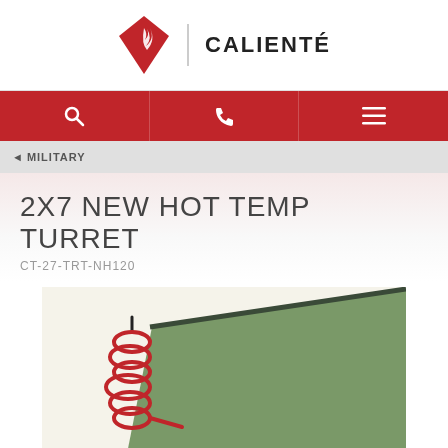[Figure (logo): Caliente logo: red diamond shape with white flame, vertical bar divider, and CALIENTÉ text in bold dark letters]
[Figure (screenshot): Red navigation bar with three sections: search icon, phone icon, and hamburger menu icon]
MILITARY
2X7 NEW HOT TEMP TURRET
CT-27-TRT-NH120
[Figure (photo): Product photo of a flat rectangular green military heating pad with red coiled wire/probe attachment, shown from above-angle on a light background]